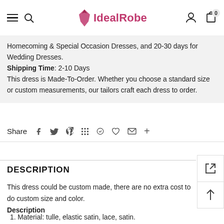IdealRobe
Homecoming & Special Occasion Dresses, and 20-30 days for Wedding Dresses.
Shipping Time: 2-10 Days
This dress is Made-To-Order. Whether you choose a standard size or custom measurements, our tailors craft each dress to order.
Share
DESCRIPTION
This dress could be custom made, there are no extra cost to do custom size and color.
Description
1. Material: tulle, elastic satin, lace, satin.